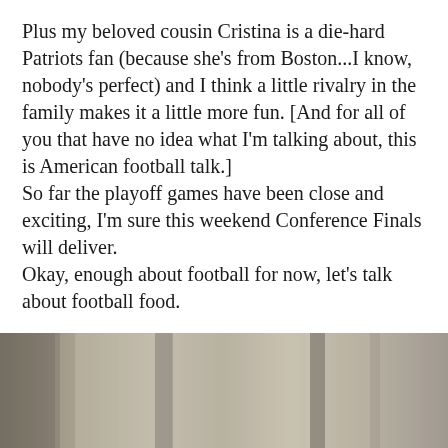Plus my beloved cousin Cristina is a die-hard Patriots fan (because she's from Boston...I know, nobody's perfect) and I think a little rivalry in the family makes it a little more fun. [And for all of you that have no idea what I'm talking about, this is American football talk.]
So far the playoff games have been close and exciting, I'm sure this weekend Conference Finals will deliver.
Okay, enough about football for now, let's talk about football food.
[Figure (photo): A blurry, muted-tone photograph showing what appears to be fabric or curtains in beige/gray tones, with a dark object partially visible at the bottom left corner.]